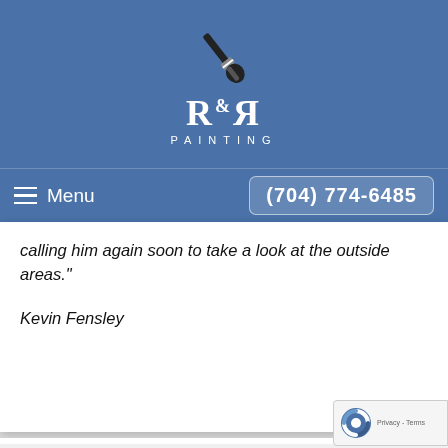[Figure (logo): R&R Painting logo with paint brush icon and company name]
≡ Menu    (704) 774-6485
calling him again soon to take a look at the outside areas."
Kevin Fensley
★★★★★ - "R&R Painting just finished their third project for us in several years. Each time they have painted our home they did an excellent job. They on time, do their prep work, paint two coats of pai walls/ceilings and trim. The paint is never watered